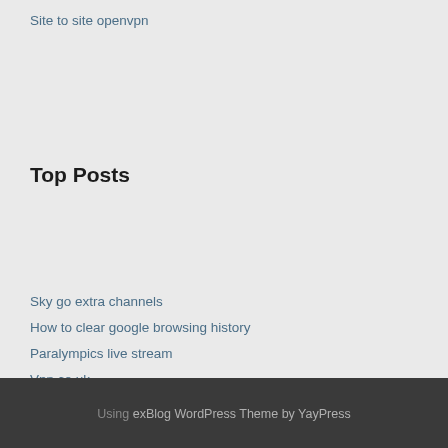Site to site openvpn
Top Posts
Sky go extra channels
How to clear google browsing history
Paralympics live stream
Vpn.co.uk
Clear my google search history
Using exBlog WordPress Theme by YayPress